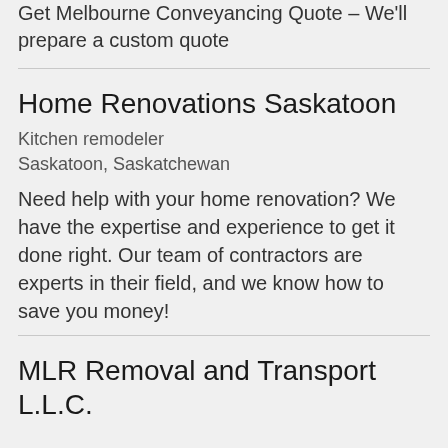Get Melbourne Conveyancing Quote – We'll prepare a custom quote
Home Renovations Saskatoon
Kitchen remodeler
Saskatoon, Saskatchewan
Need help with your home renovation? We have the expertise and experience to get it done right. Our team of contractors are experts in their field, and we know how to save you money!
MLR Removal and Transport L.L.C.